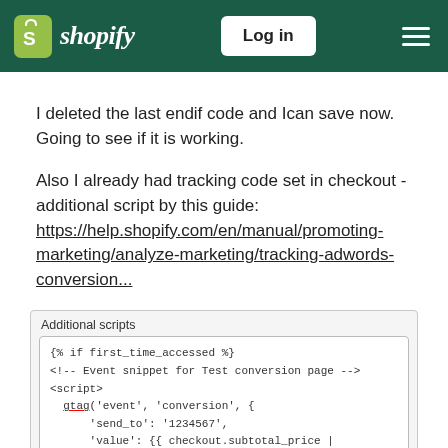Shopify — Log in
I deleted the last endif code and Ican save now. Going to see if it is working.
Also I already had tracking code set in checkout - additional script by this guide: https://help.shopify.com/en/manual/promoting-marketing/analyze-marketing/tracking-adwords-conversion...
[Figure (screenshot): Screenshot of Shopify admin 'Additional scripts' text field containing Liquid/HTML/JS code: {% if first_time_accessed %} <!-- Event snippet for Test conversion page --> <script> gtag('event', 'conversion', { 'send_to': '1234567', 'value': {{ checkout.subtotal_price | money_without_currency }},]